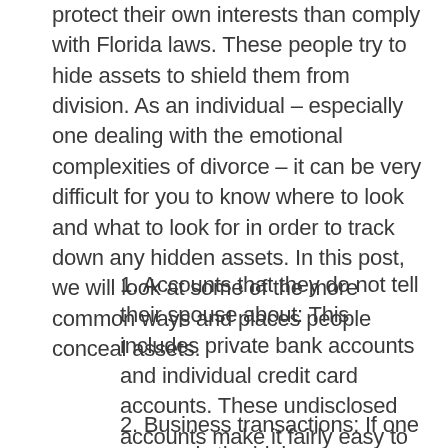protect their own interests than comply with Florida laws. These people try to hide assets to shield them from division. As an individual – especially one dealing with the emotional complexities of divorce – it can be very difficult for you to know where to look and what to look for in order to track down any hidden assets. In this post, we will look at some of the more common ways and places people conceal assets.
1. Accounts that they do not tell their spouse about: This includes private bank accounts and individual credit card accounts. These undisclosed accounts make it fairly easy to make big purchases or hide money without anyone else knowing.
2. Business transactions: If one spouse is the high earner because he or she owns a business, he or she might conceal money by hiding it in their business. As noted in this AOL Finance article, the person could